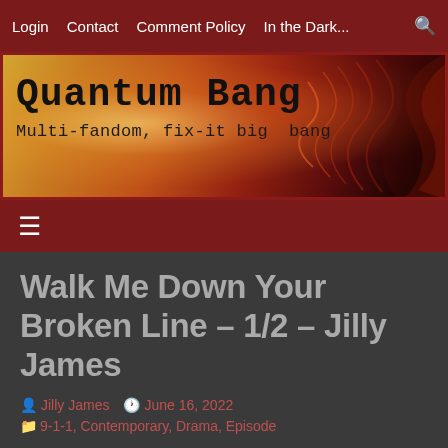Login  Contact  Comment Policy  In the Dark...  🔍
[Figure (illustration): Quantum Bang website banner with text 'Quantum Bang' and subtitle 'Multi-fandom, fix-it big bang' on a warm orange-red gradient background with light burst and wave effects]
≡
Walk Me Down Your Broken Line – 1/2 – Jilly James
Jilly James   June 16, 2022
9-1-1, Contemporary, Drama, Episode